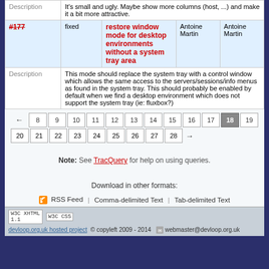|  | Description |
| --- | --- |
| Description | It's small and ugly. Maybe show more columns (host, ...) and make it a bit more attractive. |
| #177 | fixed | restore window mode for desktop environments without a system tray area | Antoine Martin | Antoine Martin |
| Description | This mode should replace the system tray with a control window which allows the same access to the servers/sessions/info menus as found in the system tray. This should probably be enabled by default when we find a desktop environment which does not support the system tray (ie: fluxbox?) |
← 8 9 10 11 12 13 14 15 16 17 18 19 20 21 22 23 24 25 26 27 28 →
Note: See TracQuery for help on using queries.
Download in other formats:
RSS Feed | Comma-delimited Text | Tab-delimited Text
W3C XHTML 1.1  W3C CSS  devloop.org.uk hosted project  copyleft 2009 - 2014  webmaster@devloop.org.uk